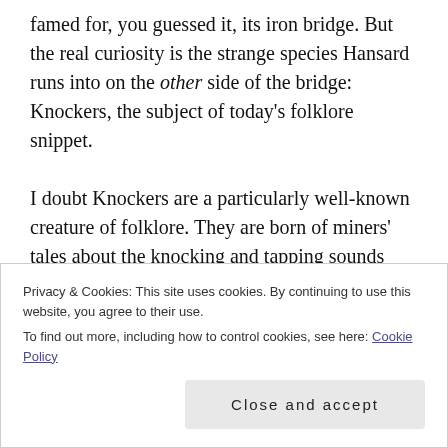famed for, you guessed it, its iron bridge. But the real curiosity is the strange species Hansard runs into on the other side of the bridge: Knockers, the subject of today's folklore snippet.

I doubt Knockers are a particularly well-known creature of folklore. They are born of miners' tales about the knocking and tapping sounds heard while working in the deep dark. As with most folklore, there are many versions of these creatures: some say they are the spirits of departed miners, while elsewhere they may be considered
Privacy & Cookies: This site uses cookies. By continuing to use this website, you agree to their use.
To find out more, including how to control cookies, see here: Cookie Policy
Close and accept